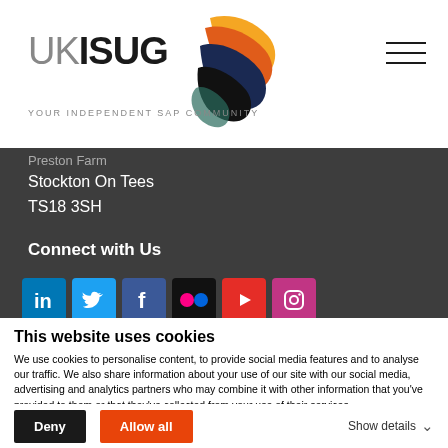[Figure (logo): UKISUG logo with colorful bird/leaf shape and text YOUR INDEPENDENT SAP COMMUNITY]
Preston Farm
Stockton On Tees
TS18 3SH
Connect with Us
[Figure (infographic): Row of social media icons: LinkedIn, Twitter, Facebook, Flickr, YouTube, Instagram]
This website uses cookies
We use cookies to personalise content, to provide social media features and to analyse our traffic. We also share information about your use of our site with our social media, advertising and analytics partners who may combine it with other information that you've provided to them or that they've collected from your use of their services.
Deny | Allow all | Show details